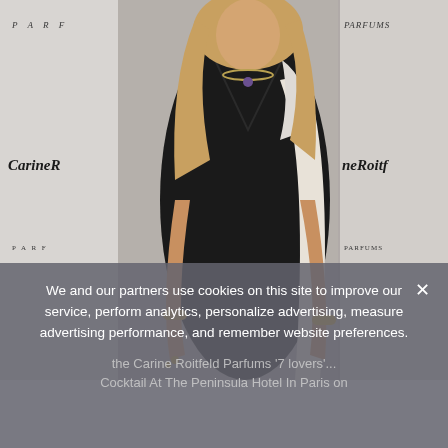[Figure (photo): A woman in a black and white satin halter dress posing at a Carine Roitfeld Parfums event backdrop at The Peninsula Hotel in Paris. She has long blonde hair and wears gold bracelets and a necklace.]
We and our partners use cookies on this site to improve our service, perform analytics, personalize advertising, measure advertising performance, and remember website preferences.
the Carine Roitfeld Parfums '7 lovers'... Cocktail At The Peninsula Hotel In Paris on